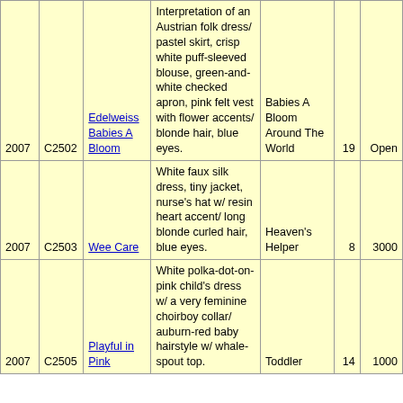| Year | Code | Name | Description | Series | Num1 | Num2 |
| --- | --- | --- | --- | --- | --- | --- |
| 2007 | C2502 | Edelweiss Babies A Bloom | Interpretation of an Austrian folk dress/ pastel skirt, crisp white puff-sleeved blouse, green-and-white checked apron, pink felt vest with flower accents/ blonde hair, blue eyes. | Babies A Bloom Around The World | 19 | Open |
| 2007 | C2503 | Wee Care | White faux silk dress, tiny jacket, nurse's hat w/ resin heart accent/ long blonde curled hair, blue eyes. | Heaven's Helper | 8 | 3000 |
| 2007 | C2505 | Playful in Pink | White polka-dot-on-pink child's dress w/ a very feminine choirboy collar/ auburn-red baby hairstyle w/ whale-spout top. | Toddler | 14 | 1000 |